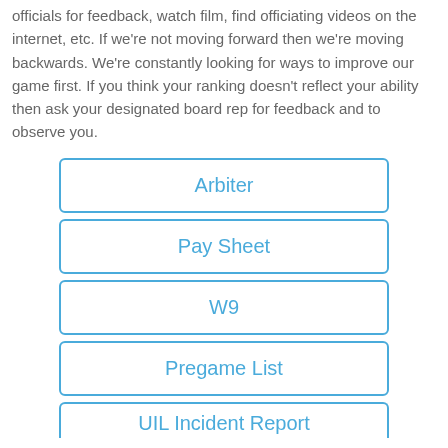officials for feedback, watch film, find officiating videos on the internet, etc. If we're not moving forward then we're moving backwards. We're constantly looking for ways to improve our game first. If you think your ranking doesn't reflect your ability then ask your designated board rep for feedback and to observe you.
Arbiter
Pay Sheet
W9
Pregame List
UIL Incident Report